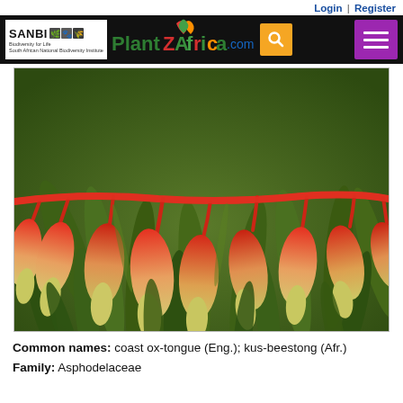Login | Register
[Figure (logo): SANBI PlantZAfrica.com website header with logo, search button, and menu button on black background]
[Figure (photo): Close-up photograph of drooping red and yellow-green tubular flowers hanging from a red stem, with green leaves in background. Likely Gasteria or Haworthia species with elongated pendulous blooms.]
Common names: coast ox-tongue (Eng.); kus-beestong (Afr.)
Family: Asphodelaceae